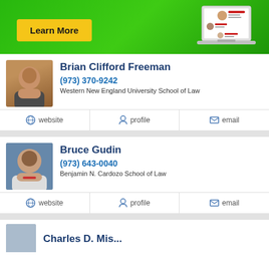[Figure (illustration): Green banner with Learn More yellow button and laptop illustration showing attorney profiles]
Brian Clifford Freeman
(973) 370-9242
Western New England University School of Law
website | profile | email
Bruce Gudin
(973) 643-0040
Benjamin N. Cardozo School of Law
website | profile | email